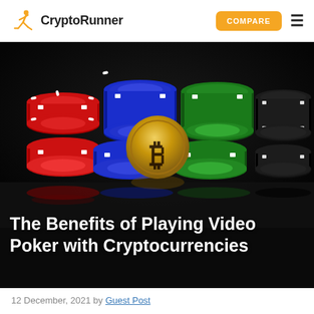CryptoRunner | COMPARE
[Figure (photo): Poker chips in red, blue, green, and black stacked on a dark reflective surface, with a gold Bitcoin coin in the center]
The Benefits of Playing Video Poker with Cryptocurrencies
12 December, 2021 by Guest Post